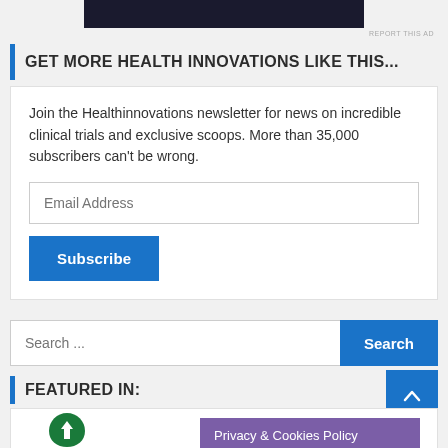[Figure (other): Dark navy/black advertisement banner at top of page]
REPORT THIS AD
GET MORE HEALTH INNOVATIONS LIKE THIS...
Join the Healthinnovations newsletter for news on incredible clinical trials and exclusive scoops. More than 35,000 subscribers can't be wrong.
Email Address
Subscribe
Search ...
Search
FEATURED IN:
Privacy & Cookies Policy